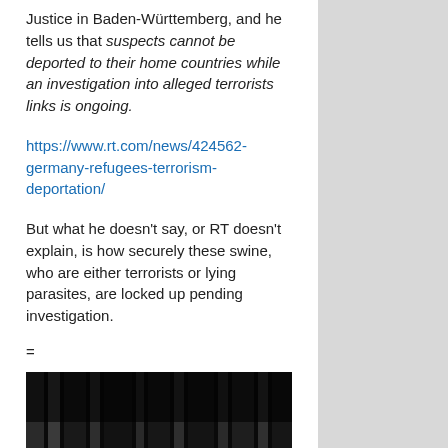Justice in Baden-Württemberg, and he tells us that suspects cannot be deported to their home countries while an investigation into alleged terrorists links is ongoing.
https://www.rt.com/news/424562-germany-refugees-terrorism-deportation/
But what he doesn't say, or RT doesn't explain, is how securely these swine, who are either terrorists or lying parasites, are locked up pending investigation.
=
[Figure (photo): Two hands gripping prison bars from behind, dark background with vertical bars.]